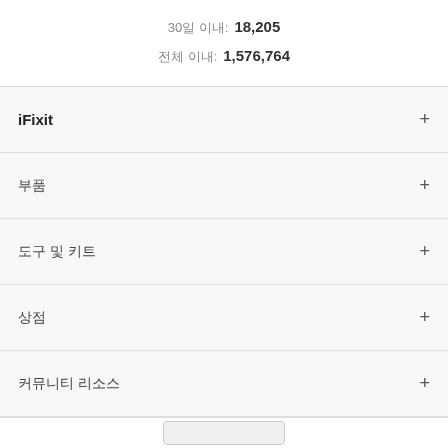30일 이내: 18,205
전체 이내: 1,576,764
iFixit +
부품 +
도구 및 키트 +
상점 +
커뮤니티 리소스 +